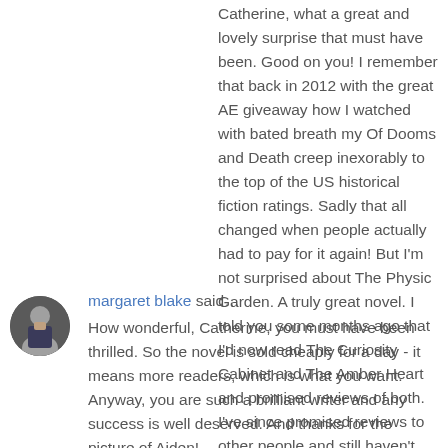Catherine, what a great and lovely surprise that must have been. Good on you! I remember that back in 2012 with the great AE giveaway how I watched with bated breath my Of Dooms and Death creep inexorably to the top of the US historical fiction ratings. Sadly that all changed when people actually had to pay for it again! But I'm not surprised about The Physic Garden. A truly great novel. I told you some months ago that I'd now read The Curiosity Cabinet and The Amber Heart and promised reviews of both. I've since promised reviews to other people and still haven't done any of them. But I will, I will.
18 June 2015 at 10:13
margaret blake said...
How wonderful, Catherine, you must have been thrilled. So the novel is sold cheaply for a day - it means more readers, which is what you want. Anyway, you are such a brilliant writer and any success is well deserved. And thanks for the picture of Aiden!